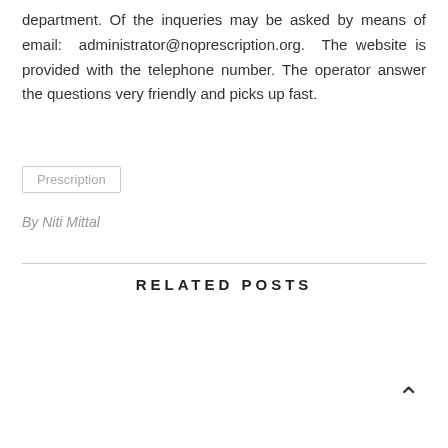department. Of the inqueries may be asked by means of email: administrator@noprescription.org. The website is provided with the telephone number. The operator answer the questions very friendly and picks up fast.
Prescription
By Niti Mittal
RELATED POSTS